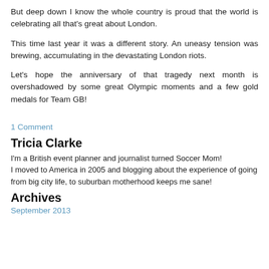But deep down I know the whole country is proud that the world is celebrating all that's great about London.
This time last year it was a different story. An uneasy tension was brewing, accumulating in the devastating London riots.
Let's hope the anniversary of that tragedy next month is overshadowed by some great Olympic moments and a few gold medals for Team GB!
1 Comment
Tricia Clarke
I'm a British event planner and journalist turned Soccer Mom! I moved to America in 2005 and blogging about the experience of going from big city life, to suburban motherhood keeps me sane!
Archives
September 2013